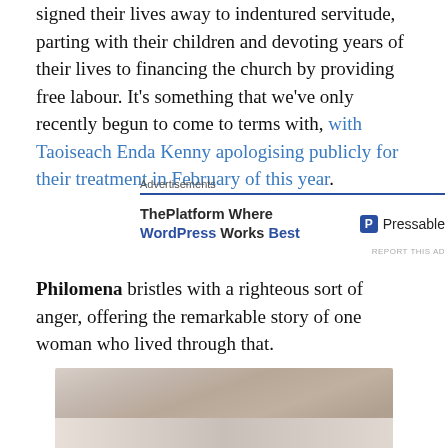signed their lives away to indentured servitude, parting with their children and devoting years of their lives to financing the church by providing free labour. It's something that we've only recently begun to come to terms with, with Taoiseach Enda Kenny apologising publicly for their treatment in February of this year.
[Figure (other): Advertisement block: 'Advertisements' label with blue divider, showing 'ThePlatform Where WordPress Works Best' and Pressable logo]
Philomena bristles with a righteous sort of anger, offering the remarkable story of one woman who lived through that.
[Figure (photo): Photograph of a woman, cropped to show face and upper body, brown/grey hair, appearing to be middle-aged or older]